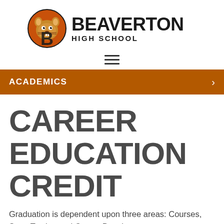[Figure (logo): Beaverton High School logo with beaver mascot and stylized B, alongside school name BEAVERTON HIGH SCHOOL]
[Figure (other): Hamburger menu icon with three horizontal lines]
ACADEMICS
CAREER EDUCATION CREDIT
Graduation is dependent upon three areas: Courses, State Testing and Career Development.